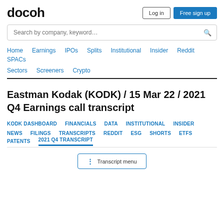docoh
Log in | Free sign up
Search by company, keyword…
Home | Earnings | IPOs | Splits | Institutional | Insider | Reddit | SPACs | Sectors | Screeners | Crypto
Eastman Kodak (KODK) / 15 Mar 22 / 2021 Q4 Earnings call transcript
KODK DASHBOARD | FINANCIALS | DATA | INSTITUTIONAL | INSIDER | NEWS | FILINGS | TRANSCRIPTS | REDDIT | ESG | SHORTS | ETFS | PATENTS | 2021 Q4 TRANSCRIPT
Transcript menu